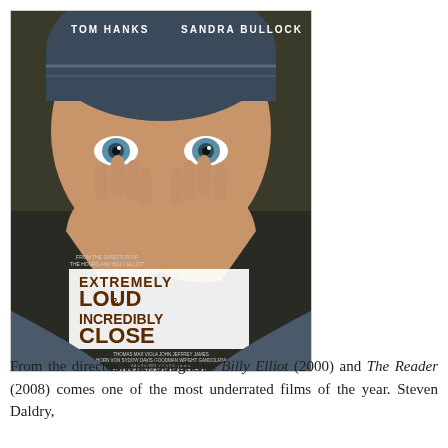[Figure (illustration): Movie poster for 'Extremely Loud & Incredibly Close' featuring a child with hands covering their face, blue eyes visible above the hands, wearing a knit cap. Text on poster: Tom Hanks, Sandra Bullock, 'From the director of The Hours and Billy Elliot', 'EXTREMELY LOUD & INCREDIBLY CLOSE', cast names Thomas Horn, Max von Sydow, Viola Davis, John Goodman, Jeffrey Wright, James Gandolfini, 'THIS DECEMBER'.]
From the director who bought us Billy Elliot (2000) and The Reader (2008) comes one of the most underrated films of the year. Steven Daldry,